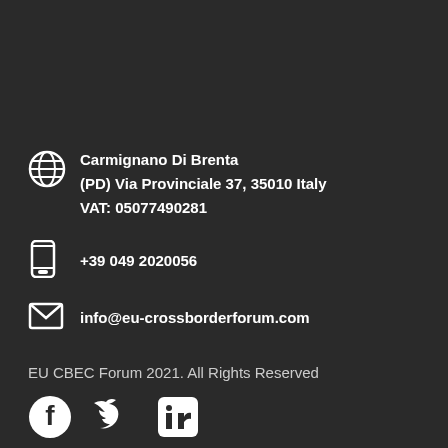Carmignano Di Brenta
(PD) Via Provinciale 37, 35010 Italy
VAT: 05077490281
+39 049 2020056
info@eu-crossborderforum.com
EU CBEC Forum 2021. All Rights Reserved
[Figure (other): Social media icons: Facebook, Twitter, LinkedIn]
Subscribe To Our Newsletter
Name